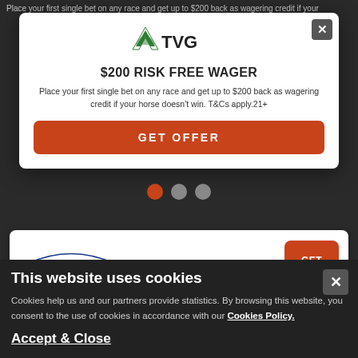Place your first single bet on any race and get up to $200 back as wagering credit if your
[Figure (screenshot): TVG modal popup with logo, $200 RISK FREE WAGER title, description text, and GET OFFER button]
$200 Sign-Up Bonus
New Customers Only.T&Cs apply.21 +
[Figure (logo): AmWager logo with horses]
$300 Deposit Match Bonus
T&Cs apply...
This website uses cookies
Cookies help us and our partners provide statistics. By browsing this website, you consent to the use of cookies in accordance with our Cookies Policy.
Accept & Close